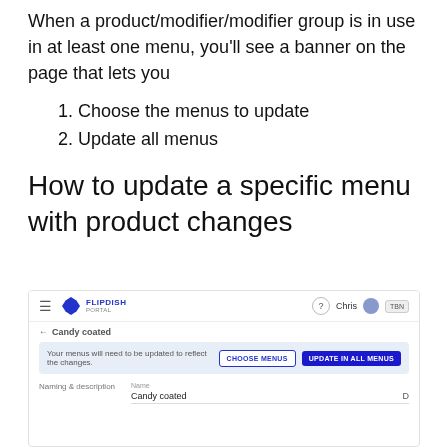When a product/modifier/modifier group is in use in at least one menu, you'll see a banner on the page that lets you
1. Choose the menus to update
2. Update all menus
How to update a specific menu with product changes
[Figure (screenshot): Screenshot of Flipdish portal showing a product page for 'Candy coated' with a banner offering 'CHOOSE MENUS' and 'UPDATE IN ALL MENUS' buttons, and a Naming & description section below with the Name field showing 'Candy coated'.]